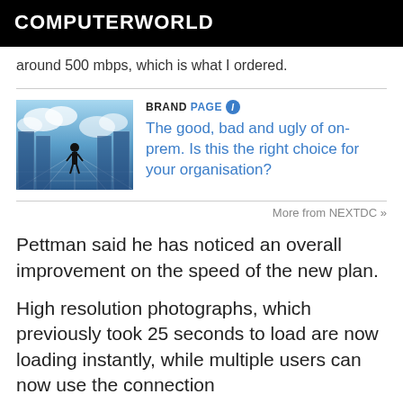COMPUTERWORLD
around 500 mbps, which is what I ordered.
[Figure (illustration): Promotional image for BrandPage: person standing in a sci-fi data center corridor with clouds]
BRANDPAGE
The good, bad and ugly of on-prem. Is this the right choice for your organisation?
More from NEXTDC »
Pettman said he has noticed an overall improvement on the speed of the new plan.
High resolution photographs, which previously took 25 seconds to load are now loading instantly, while multiple users can now use the connection